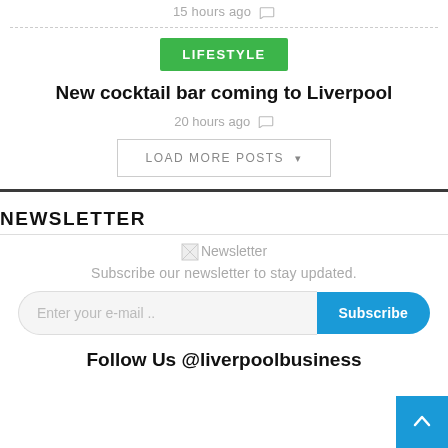15 hours ago
LIFESTYLE
New cocktail bar coming to Liverpool
20 hours ago
LOAD MORE POSTS
NEWSLETTER
[Figure (illustration): Newsletter image placeholder with broken image icon and text 'Newsletter']
Subscribe our newsletter to stay updated.
Enter your e-mail ..  Subscribe
Follow Us @liverpoolbusiness